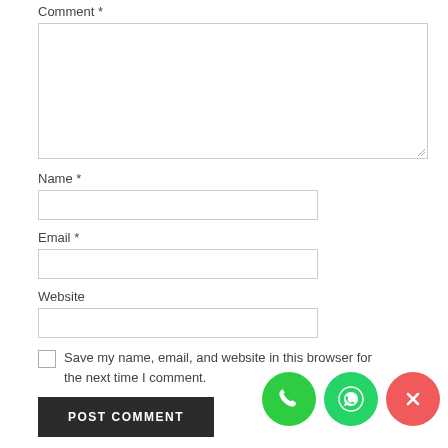Comment *
[Figure (screenshot): Empty comment textarea with resize handle]
Name *
[Figure (screenshot): Empty name input field]
Email *
[Figure (screenshot): Empty email input field]
Website
[Figure (screenshot): Empty website input field]
Save my name, email, and website in this browser for the next time I comment.
[Figure (screenshot): POST COMMENT button and three floating circular buttons: phone (green), WhatsApp (green), close (red)]